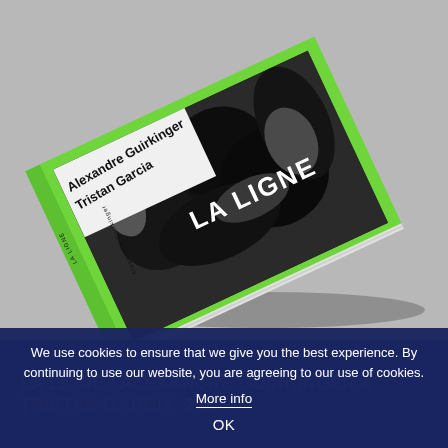[Figure (photo): A photograph of a book titled 'LA LIGNE' by Alexandre Guirkinger and Tristan Garcia, lying on a gray surface. The book has a bright neon green border/cover edge with a black and white photo on the cover showing vegetation. The book spine is also visible with text.]
LA LIGNE / ALEXANDRE GUIRKINGER & TRISTAN GARCIA  24€
We use cookies to ensure that we give you the best experience. By continuing to use our website, you are agreeing to our use of cookies.
More info
OK